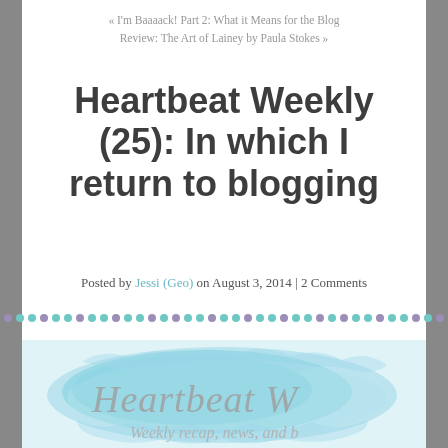« I'm Baaaack! Part 2: What it Means for the Blog
Review: The Art of Lainey by Paula Stokes »
Heartbeat Weekly (25): In which I return to blogging
Posted by Jessi (Geo) on August 3, 2014 | 2 Comments
[Figure (illustration): Decorative dot divider row alternating teal and purple circles]
[Figure (illustration): Watercolor-style blue splash banner with cursive text reading 'Heartbeat W...' and subtitle 'Weekly recap, news, and b...']